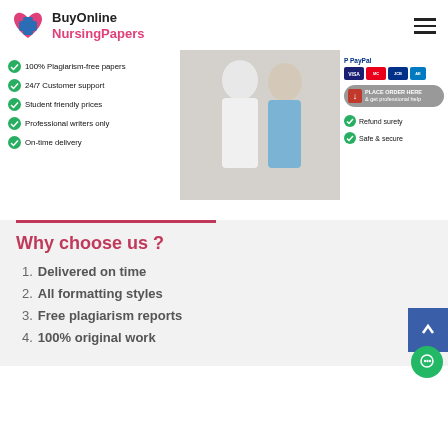[Figure (logo): BuyOnline NursingPapers logo with heart and cross icon]
[Figure (infographic): Banner with two nurses, checkmark feature list, payment icons, and Place Order Here button]
Why choose us ?
1. Delivered on time
2. All formatting styles
3. Free plagiarism reports
4. 100% original work